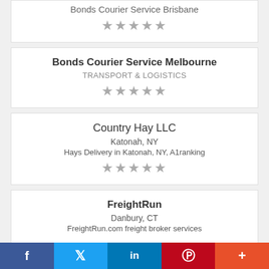Bonds Courier Service Brisbane ★★★★★
Bonds Courier Service Melbourne
TRANSPORT & LOGISTICS ★★★★★
Country Hay LLC
Katonah, NY
Hays Delivery in Katonah, NY, A1ranking ★★★★★
FreightRun
Danbury, CT
FreightRun.com freight broker services
f  Twitter  in  Pinterest  +